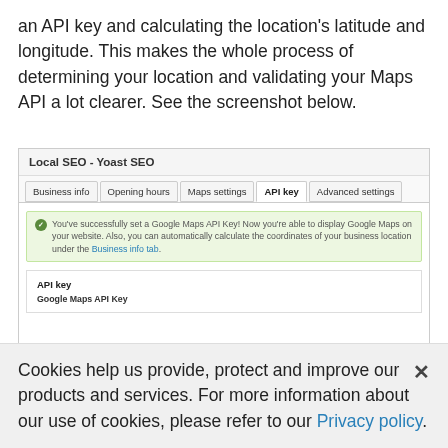an API key and calculating the location's latitude and longitude. This makes the whole process of determining your location and validating your Maps API a lot clearer. See the screenshot below.
[Figure (screenshot): Screenshot of Local SEO - Yoast SEO plugin settings page showing the API key tab with a success message confirming Google Maps API Key has been set, and an API key section below.]
Cookies help us provide, protect and improve our products and services. For more information about our use of cookies, please refer to our Privacy policy.